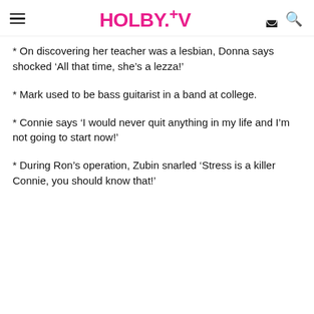HOLBY.TV
* On discovering her teacher was a lesbian, Donna says shocked ‘All that time, she’s a lezza!’
* Mark used to be bass guitarist in a band at college.
* Connie says ‘I would never quit anything in my life and I’m not going to start now!’
* During Ron’s operation, Zubin snarled ‘Stress is a killer Connie, you should know that!’